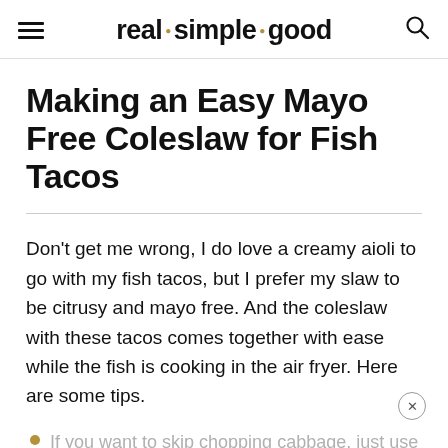real · simple · good
Making an Easy Mayo Free Coleslaw for Fish Tacos
Don't get me wrong, I do love a creamy aioli to go with my fish tacos, but I prefer my slaw to be citrusy and mayo free. And the coleslaw with these tacos comes together with ease while the fish is cooking in the air fryer. Here are some tips.
If you want to skip chopping cabbage, just use a coleslaw mix from the grocery store.